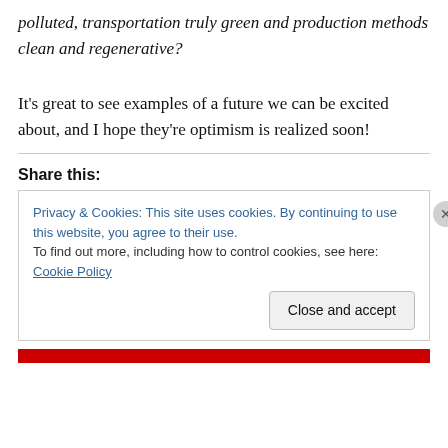polluted, transportation truly green and production methods clean and regenerative?
It's great to see examples of a future we can be excited about, and I hope they're optimism is realized soon!
Share this:
Privacy & Cookies: This site uses cookies. By continuing to use this website, you agree to their use.
To find out more, including how to control cookies, see here: Cookie Policy
Close and accept